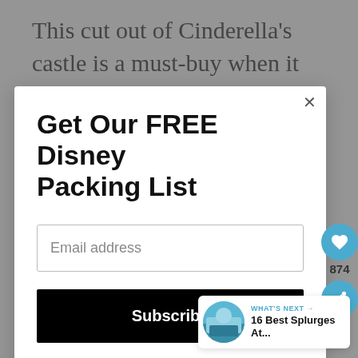This cut out of Cinderella's castle is a must-buy when it comes to Disney Christmas ornaments. Made of glitter
Get Our FREE Disney Packing List
Email address
Subscribe
874
WHAT'S NEXT → 16 Best Splurges At...